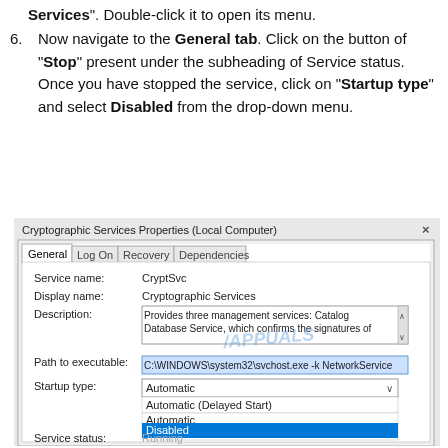Services". Double-click it to open its menu.
6. Now navigate to the General tab. Click on the button of "Stop" present under the subheading of Service status. Once you have stopped the service, click on "Startup type" and select Disabled from the drop-down menu.
[Figure (screenshot): Windows Services dialog showing Cryptographic Services Properties (Local Computer) with General tab active. Fields show Service name: CryptSvc, Display name: Cryptographic Services, Description: Provides three management services: Catalog Database Service, which confirms the signatures of, Path to executable: C:\WINDOWS\system32\svchost.exe -k NetworkService, Startup type dropdown showing Automatic selected with dropdown open listing Automatic (Delayed Start), Automatic, Manual, and Disabled (highlighted in blue), Service status: Running. APPUALS watermark visible.]